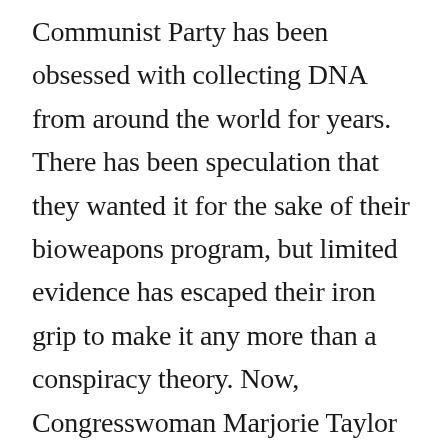Communist Party has been obsessed with collecting DNA from around the world for years. There has been speculation that they wanted it for the sake of their bioweapons program, but limited evidence has escaped their iron grip to make it any more than a conspiracy theory. Now, Congresswoman Marjorie Taylor Greene and other members of Congress have heard evidence from famous Chinese defector Dr. Li-meng Yan who has direct knowledge of the